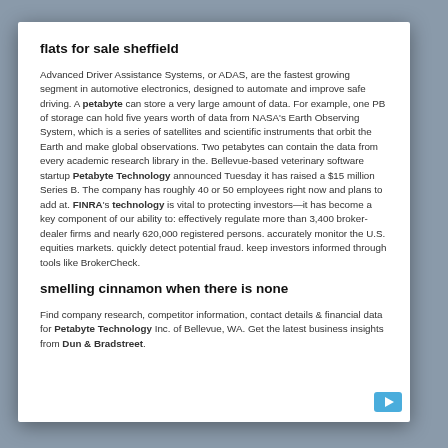flats for sale sheffield
Advanced Driver Assistance Systems, or ADAS, are the fastest growing segment in automotive electronics, designed to automate and improve safe driving. A petabyte can store a very large amount of data. For example, one PB of storage can hold five years worth of data from NASA's Earth Observing System, which is a series of satellites and scientific instruments that orbit the Earth and make global observations. Two petabytes can contain the data from every academic research library in the. Bellevue-based veterinary software startup Petabyte Technology announced Tuesday it has raised a $15 million Series B. The company has roughly 40 or 50 employees right now and plans to add at. FINRA's technology is vital to protecting investors—it has become a key component of our ability to: effectively regulate more than 3,400 broker-dealer firms and nearly 620,000 registered persons. accurately monitor the U.S. equities markets. quickly detect potential fraud. keep investors informed through tools like BrokerCheck.
smelling cinnamon when there is none
Find company research, competitor information, contact details & financial data for Petabyte Technology Inc. of Bellevue, WA. Get the latest business insights from Dun & Bradstreet.